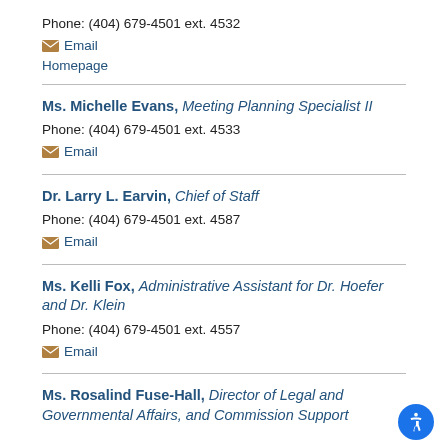Phone: (404) 679-4501 ext. 4532
Email
Homepage
Ms. Michelle Evans, Meeting Planning Specialist II
Phone: (404) 679-4501 ext. 4533
Email
Dr. Larry L. Earvin, Chief of Staff
Phone: (404) 679-4501 ext. 4587
Email
Ms. Kelli Fox, Administrative Assistant for Dr. Hoefer and Dr. Klein
Phone: (404) 679-4501 ext. 4557
Email
Ms. Rosalind Fuse-Hall, Director of Legal and Governmental Affairs, and Commission Support